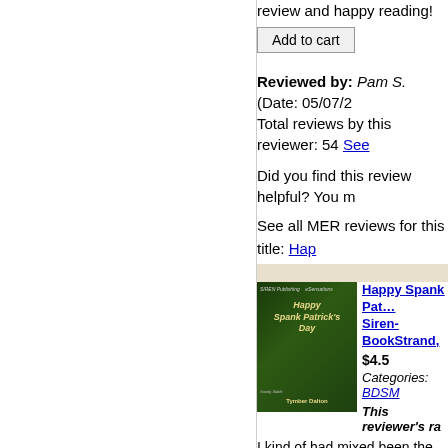review and happy reading!
Add to cart
Reviewed by: Pam S. (Date: 05/07/2 Total reviews by this reviewer: 54 See
Did you find this review helpful? You m
See all MER reviews for this title: Hap See all MER reviews for this author: T
[Figure (illustration): Book cover for Happy Spank Patrick's Day by Tymber Dalton, SIREN Publishing, dark green background with decorative imagery]
Happy Spank Pat... Siren-BookStrand, $4.5 Categories: BDSM
This reviewer's ra
I kind of had mixed been the lighter mo was a big trigger tha for the people in the happen in the lives of real people. Becaus and sorrows. Just have some tissues hand
Add to cart